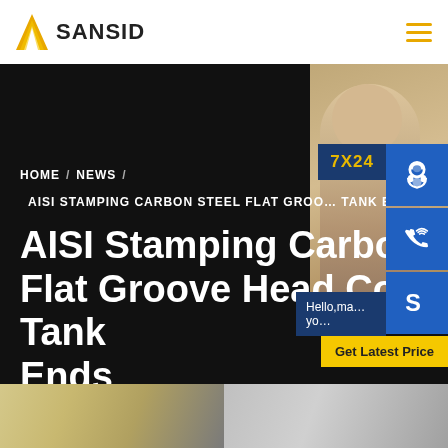SANSID
[Figure (screenshot): Website screenshot showing SANSID company page header with logo, navigation, hero section with dark background, breadcrumb navigation, page title 'AISI Stamping Carbon Flat Groove Head Cover Tank Ends', customer service sidebar with 7X24 badge, headset icon, phone icon, Skype icon, Get Latest Price button, and partial product photo strip at bottom.]
HOME / NEWS / AISI STAMPING CARBON STEEL FLAT GROOVE TANK ENDS
AISI Stamping Carbon Flat Groove Head Cover Tank Ends